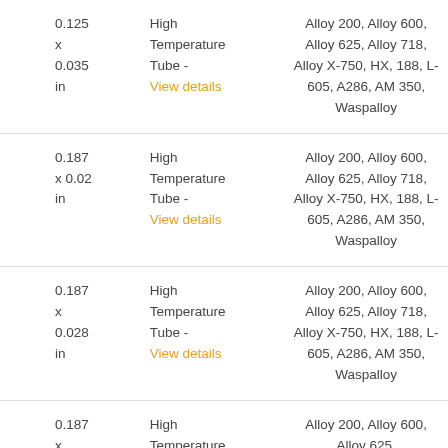| 0.125 x 0.035 in | High Temperature Tube - View details | Alloy 200, Alloy 600, Alloy 625, Alloy 718, Alloy X-750, HX, 188, L-605, A286, AM 350, Waspalloy |
| 0.187 x 0.02 in | High Temperature Tube - View details | Alloy 200, Alloy 600, Alloy 625, Alloy 718, Alloy X-750, HX, 188, L-605, A286, AM 350, Waspalloy |
| 0.187 x 0.028 in | High Temperature Tube - View details | Alloy 200, Alloy 600, Alloy 625, Alloy 718, Alloy X-750, HX, 188, L-605, A286, AM 350, Waspalloy |
| 0.187 x ... | High Temperature Tube - | Alloy 200, Alloy 600, Alloy 625, Alloy 718, Alloy ... |